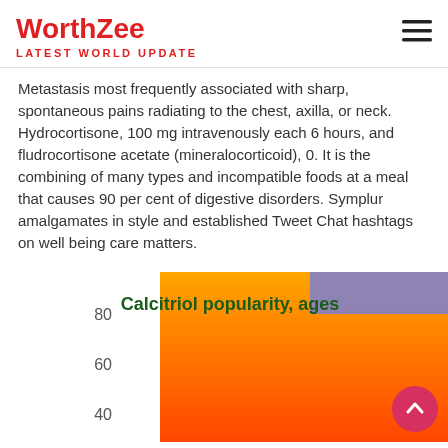WorthZee — LATEST WORLD UPDATE
Metastasis most frequently associated with sharp, spontaneous pains radiating to the chest, axilla, or neck. Hydrocortisone, 100 mg intravenously each 6 hours, and fludrocortisone acetate (mineralocorticoid), 0. It is the combining of many types and incompatible foods at a meal that causes 90 per cent of digestive disorders. Symplur amalgamates in style and established Tweet Chat hashtags on well being care matters.
[Figure (bar-chart): Calcitriol popularity, ages]